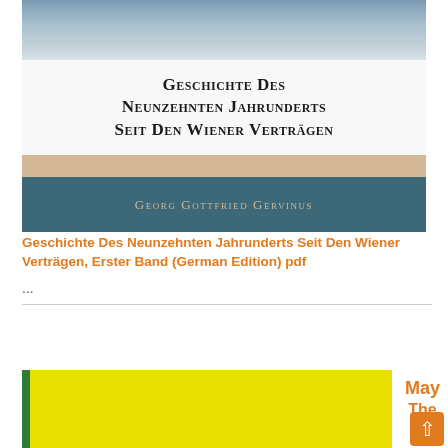[Figure (illustration): Book cover of 'Geschichte Des Neunzehnten Jahrunderts Seit Den Wiener Verträgen' by Georg Gottfried Gervinus. Cover shows a sky background at top, bold serif title text in the middle white area, a tan/beige band, and a teal/dark blue band with the author's name in gold small-caps lettering.]
Geschichte Des Neunzehnten Jahrunderts Seit Den Wiener Verträgen, Erster Band (German Edition) pdf
...
[Figure (illustration): Partially visible second book cover with green spine strip on left, yellow main area, and orange 'May The' text on right side, with an orange scroll-to-top button.]